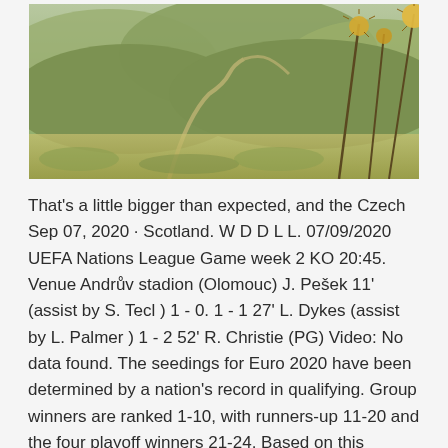[Figure (photo): Aerial or elevated landscape photograph showing rolling hills with winding roads and dry plant stems/thistles in the foreground]
That's a little bigger than expected, and the Czech Sep 07, 2020 · Scotland. W D D L L. 07/09/2020 UEFA Nations League Game week 2 KO 20:45. Venue Andrův stadion (Olomouc) J. Pešek 11' (assist by S. Tecl ) 1 - 0. 1 - 1 27' L. Dykes (assist by L. Palmer ) 1 - 2 52' R. Christie (PG) Video: No data found. The seedings for Euro 2020 have been determined by a nation's record in qualifying. Group winners are ranked 1-10, with runners-up 11-20 and the four playoff winners 21-24. Based on this ranking Jun 06, 2021 · Euro 2020 team guides part 14: Czech Republic.